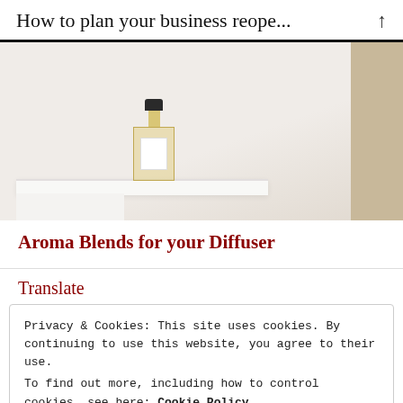How to plan your business reope...
[Figure (photo): A glass perfume or diffuser bottle with a dark cap and amber liquid, sitting on a white shelf against a warm beige background.]
Aroma Blends for your Diffuser
Translate
Privacy & Cookies: This site uses cookies. By continuing to use this website, you agree to their use.
To find out more, including how to control cookies, see here: Cookie Policy
Close and accept